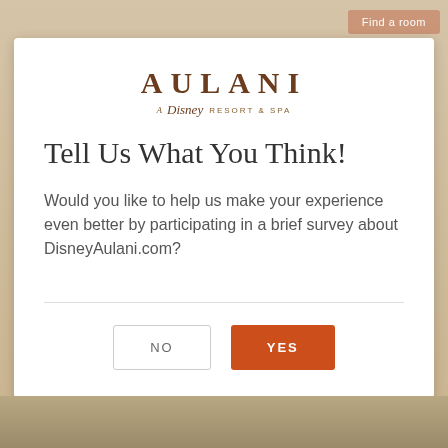[Figure (screenshot): Aulani A Disney Resort & Spa logo with stylized text]
Tell Us What You Think!
Would you like to help us make your experience even better by participating in a brief survey about DisneyAulani.com?